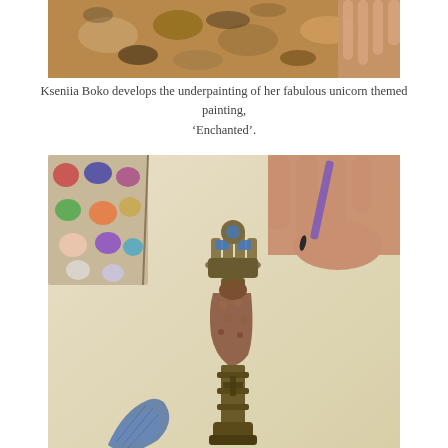[Figure (photo): Close-up photo of an artist's hands developing the underpainting of a unicorn themed painting, showing paint palette with various colors on a wooden surface.]
Kseniia Boko develops the underpainting of her fabulous unicorn themed painting, ‘Enchanted’.
[Figure (photo): Close-up photo of an artist's hand holding a brush, painting a highly detailed ornate scepter or staff with a crown on top, a snake or lizard wrapped around it, and intricate metalwork. The painting appears to be on textured watercolor paper. A palette with colorful paint swatches is visible in the upper left corner.]